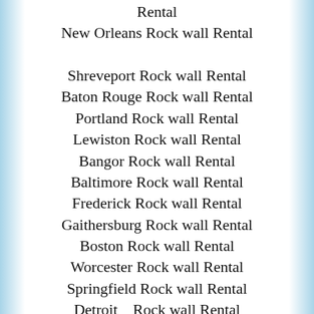Rental
New Orleans Rock wall Rental
Shreveport Rock wall Rental
Baton Rouge Rock wall Rental
Portland Rock wall Rental
Lewiston Rock wall Rental
Bangor Rock wall Rental
Baltimore Rock wall Rental
Frederick Rock wall Rental
Gaithersburg Rock wall Rental
Boston Rock wall Rental
Worcester Rock wall Rental
Springfield Rock wall Rental
Detroit    Rock wall Rental
Grand Rapids Rock wall Rental